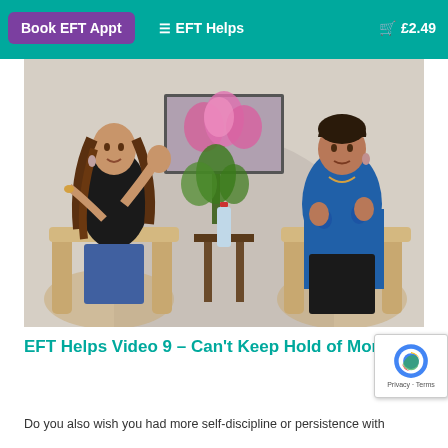Book EFT Appt   ☰ EFT Helps   🛒 £2.49
[Figure (photo): Two women sitting in wicker chairs having a conversation in a room with an arched alcove. A framed picture of pink orchids hangs on the wall behind them. The woman on the left has long brown hair and wears a black top; she has her hands raised in a talking gesture. The woman on the right has short dark hair and wears a blue patterned shirt.]
EFT Helps Video 9 – Can't Keep Hold of Money
Do you also wish you had more self-discipline or persistence with...